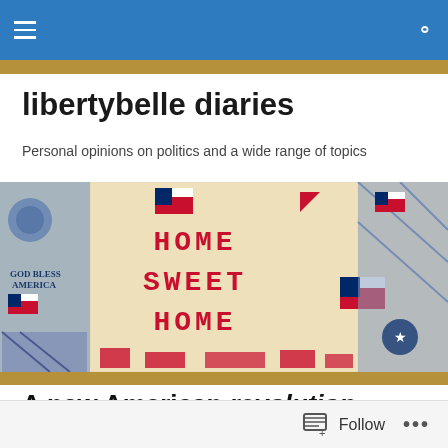libertybelle diaries — navigation bar
libertybelle diaries
Personal opinions on politics and a wide range of topics
[Figure (photo): Cross-stitch needlework reading HOME SWEET HOME with American flags and patriotic motifs including GOD BLESS AMERICA patch]
A new American revolution
Planned to write a blog post this morning, but making
Follow